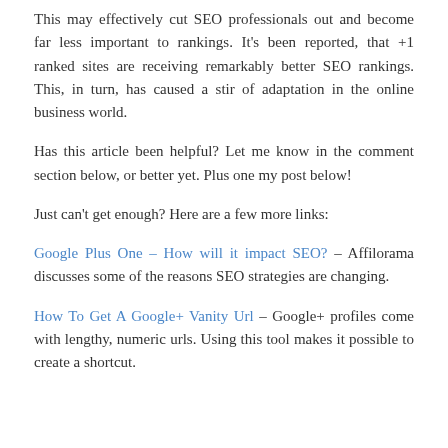This may effectively cut SEO professionals out and become far less important to rankings. It's been reported, that +1 ranked sites are receiving remarkably better SEO rankings. This, in turn, has caused a stir of adaptation in the online business world.
Has this article been helpful? Let me know in the comment section below, or better yet. Plus one my post below!
Just can't get enough? Here are a few more links:
Google Plus One – How will it impact SEO? – Affilorama discusses some of the reasons SEO strategies are changing.
How To Get A Google+ Vanity Url – Google+ profiles come with lengthy, numeric urls. Using this tool makes it possible to create a shortcut.